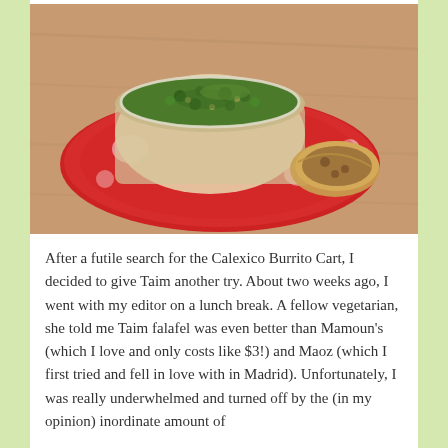[Figure (photo): A photo of a red floral plate on a wooden table, with a clear plastic container filled with green herb-topped grain salad (possibly tabbouleh or falafel with parsley), and a piece of falafel or stuffed pastry on the side.]
After a futile search for the Calexico Burrito Cart, I decided to give Taim another try. About two weeks ago, I went with my editor on a lunch break. A fellow vegetarian, she told me Taim falafel was even better than Mamoun's (which I love and only costs like $3!) and Maoz (which I first tried and fell in love with in Madrid). Unfortunately, I was really underwhelmed and turned off by the (in my opinion) inordinate amount of